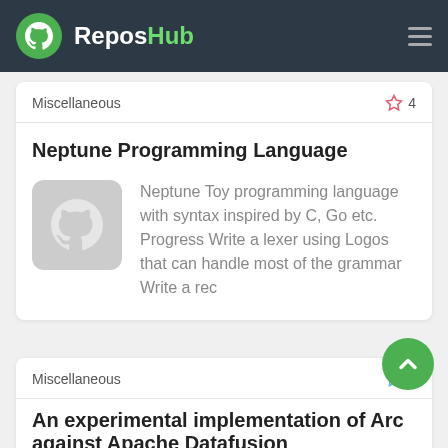ReposHub
Miscellaneous ☆ 4
Neptune Programming Language
[Figure (logo): GitHub-style Octocat logo placeholder in gray rounded square]
Neptune Toy programming language with syntax inspired by C, Go etc. Progress Write a lexer using Logos that can handle most of the grammar Write a rec
Miscellaneous ☆ 1
An experimental implementation of Arc against Apache Datafusion